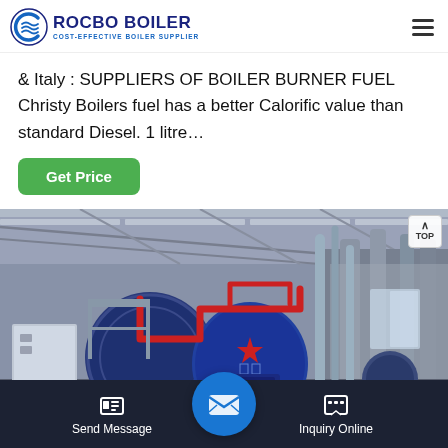[Figure (logo): Rocbo Boiler logo with circular wave icon and text 'ROCBO BOILER - COST-EFFECTIVE BOILER SUPPLIER']
& Italy : SUPPLIERS OF BOILER BURNER FUEL Christy Boilers fuel has a better Calorific value than standard Diesel. 1 litre…
[Figure (other): Green 'Get Price' button]
[Figure (photo): Industrial boiler room interior with large blue cylindrical boilers, pipes including red pipes, steel structure ceiling, in a factory setting]
Send Message    Inquiry Online